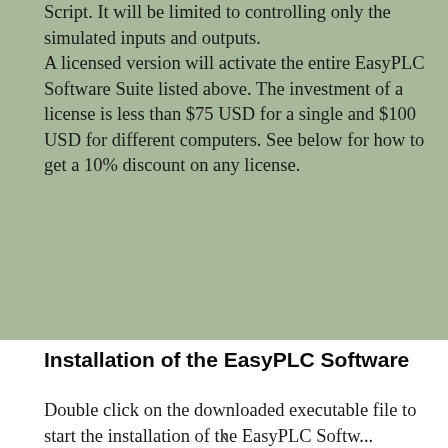Script. It will be limited to controlling only the simulated inputs and outputs. A licensed version will activate the entire EasyPLC Software Suite listed above. The investment of a license is less than $75 USD for a single and $100 USD for different computers. See below for how to get a 10% discount on any license.
Installation of the EasyPLC Software
Double click on the downloaded executable file to start the installation of the EasyPLC Software...
x